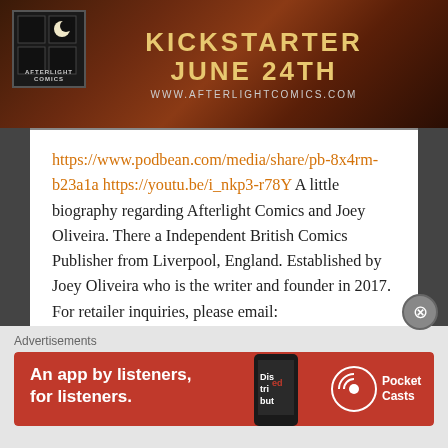[Figure (illustration): Afterlight Comics banner with dark red/brown background, Afterlight Comics logo on left, and text 'KICKSTARTER JUNE 24TH www.afterlightcomics.com' in gold/white lettering]
https://www.podbean.com/media/share/pb-8x4rm-b23a1a https://youtu.be/i_nkp3-r78Y A little biography regarding Afterlight Comics and Joey Oliveira. There a Independent British Comics Publisher from Liverpool, England. Established by Joey Oliveira who is the writer and founder in 2017. For retailer inquiries, please email: joeyafterlight@gmail.com For customer inquiries, please email: joeyafterlight@gmail.com In this Interview, Paul chats with Joey about his beginnings, struggles,...
Continue Reading →
Advertisements
[Figure (screenshot): Pocket Casts advertisement banner: red background with text 'An app by listeners, for listeners.' and Pocket Casts logo on the right]